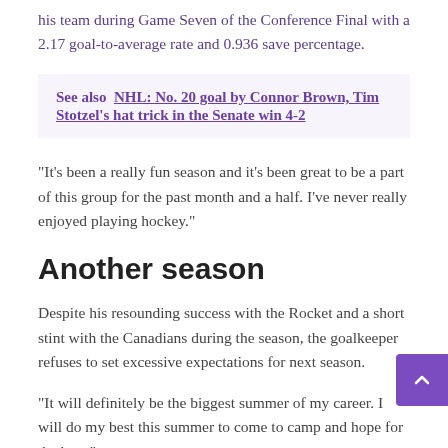his team during Game Seven of the Conference Final with a 2.17 goal-to-average rate and 0.936 save percentage.
See also  NHL: No. 20 goal by Connor Brown, Tim Stotzel's hat trick in the Senate win 4-2
"It's been a really fun season and it's been great to be a part of this group for the past month and a half. I've never really enjoyed playing hockey."
Another season
Despite his resounding success with the Rocket and a short stint with the Canadians during the season, the goalkeeper refuses to set excessive expectations for next season.
"It will definitely be the biggest summer of my career. I will do my best this summer to come to camp and hope for the best."
Assistant goalkeeper Kevin Boleyn also wanted to warn the